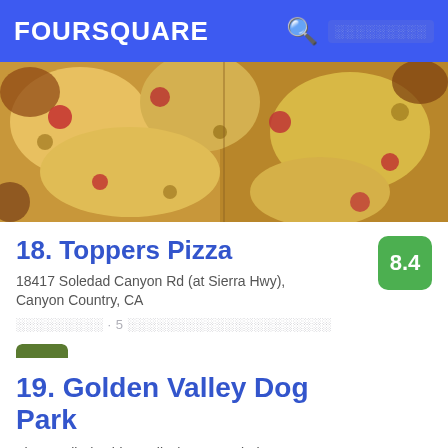FOURSQUARE
[Figure (photo): Close-up photo of pizza slices with melted cheese and toppings]
18. Toppers Pizza
8.4
18417 Soledad Canyon Rd (at Sierra Hwy), Canyon Country, CA
░░░░░░░░░ · 5 ░░░░░░░░░░░░░░░░░░░░░
Patrick O'Connell: Order a pitcher
19. Golden Valley Dog Park
Five Knolls (Golden valley), Santa Clarita, CA
░░░░░░░░░░░░░░░ · Newhall · ░░░░░░░░░░░░░░░░░░░░░